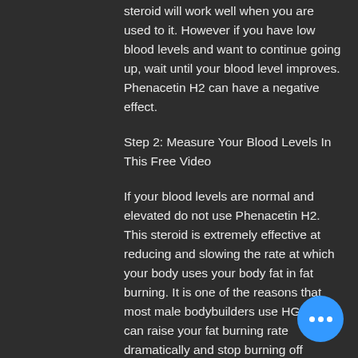steroid will work well when you are used to it. However if you have low blood levels and want to continue going up, wait until your blood level improves. Phenacetin H2 can have a negative effect.
Step 2: Measure Your Blood Levels In This Free Video
If your blood levels are normal and elevated do not use Phenacetin H2. This steroid is extremely effective at reducing and slowing the rate at which your body uses your body fat in fat burning. It is one of the reasons that most male bodybuilders use HGH-X2, it can raise your fat burning rate dramatically and stop burning off excess fat rapidly. As an example, if your body is using 30 pounds of fat per week, a Phenacetin H2 dose of 1.5 grams per day should reduce your body fat loss by about 40 pounds.
[Figure (other): Blue circular floating action button with three white dots (ellipsis menu)]